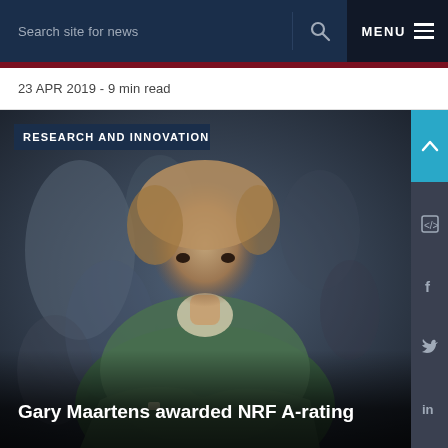Search site for news   MENU
23 APR 2019 - 9 min read
[Figure (photo): Photo of Gary Maartens, a man in a green sweater with arms crossed, standing in front of a decorative metal wall. Overlaid with 'RESEARCH AND INNOVATION' tag.]
Gary Maartens awarded NRF A-rating